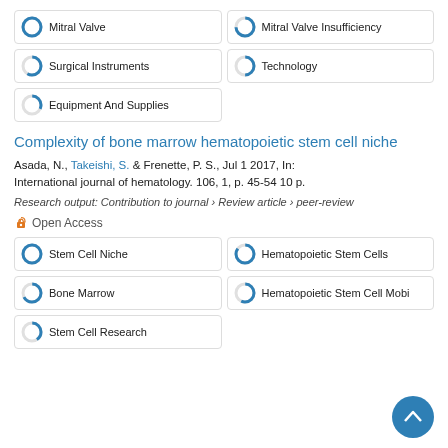Mitral Valve
Mitral Valve Insufficiency
Surgical Instruments
Technology
Equipment And Supplies
Complexity of bone marrow hematopoietic stem cell niche
Asada, N., Takeishi, S. & Frenette, P. S., Jul 1 2017, In: International journal of hematology. 106, 1, p. 45-54 10 p.
Research output: Contribution to journal › Review article › peer-review
Open Access
Stem Cell Niche
Hematopoietic Stem Cells
Bone Marrow
Hematopoietic Stem Cell Mobi
Stem Cell Research